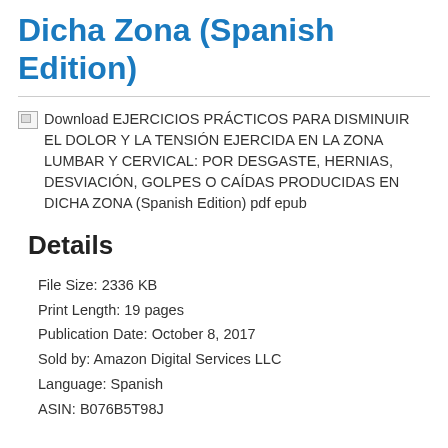Dicha Zona (Spanish Edition)
[Figure (other): Broken image placeholder followed by text: Download EJERCICIOS PRÁCTICOS PARA DISMINUIR EL DOLOR Y LA TENSIÓN EJERCIDA EN LA ZONA LUMBAR Y CERVICAL: POR DESGASTE, HERNIAS, DESVIACIÓN, GOLPES O CAÍDAS PRODUCIDAS EN DICHA ZONA (Spanish Edition) pdf epub]
Details
File Size: 2336 KB
Print Length: 19 pages
Publication Date: October 8, 2017
Sold by: Amazon Digital Services LLC
Language: Spanish
ASIN: B076B5T98J